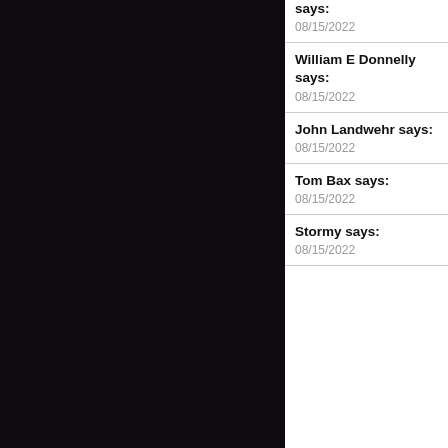says: 08/15/2022
William E Donnelly says: 08/15/2022
John Landwehr says: 08/15/2022
Tom Bax says: 08/15/2022
Stormy says: 08/15/2022